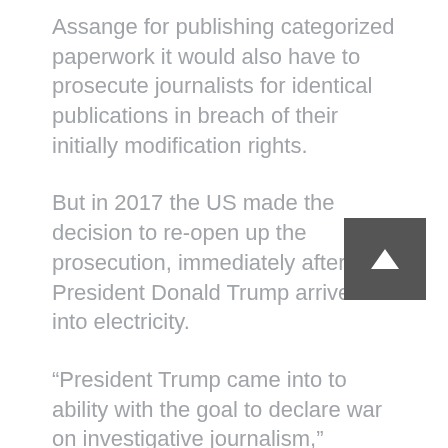Assange for publishing categorized paperwork it would also have to prosecute journalists for identical publications in breach of their initially modification rights.
But in 2017 the US made the decision to re-open up the prosecution, immediately after President Donald Trump arrived into electricity.
“President Trump came into to ability with the goal to declare war on investigative journalism,” Fitzgerald explained to the court docket
He denounced the media as unhinged, absolutely corrupt and faux news companies and established about whistle-blowers in basic, radically escalating the number of investigations into journalistic leaks.
“It was in opposition to that background that Julian